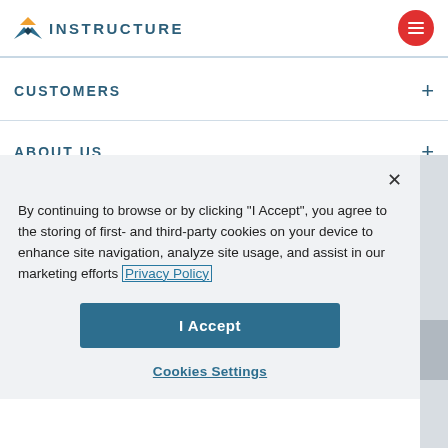INSTRUCTURE
CUSTOMERS
ABOUT US
By continuing to browse or by clicking "I Accept", you agree to the storing of first- and third-party cookies on your device to enhance site navigation, analyze site usage, and assist in our marketing efforts Privacy Policy
I Accept
Cookies Settings